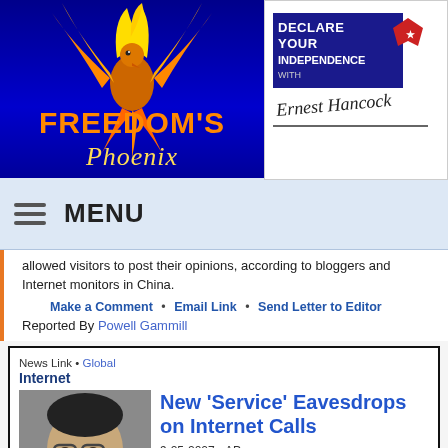[Figure (logo): Freedom's Phoenix website logo with phoenix bird on blue background]
[Figure (logo): Declare Your Independence with Ernest Hancock logo/advertisement]
MENU
allowed visitors to post their opinions, according to bloggers and Internet monitors in China.
Make a Comment • Email Link • Send Letter to Editor
Reported By Powell Gammill
News Link • Global Internet
New 'Service' Eavesdrops on Internet Calls
9-25-2007 • AP [Gonzales is available.]
A startup has come up with a new way to make money from phone calls connected via the Internet: having software listen to the calls, then